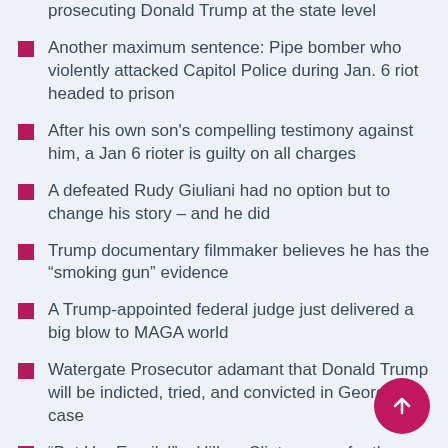prosecuting Donald Trump at the state level
Another maximum sentence: Pipe bomber who violently attacked Capitol Police during Jan. 6 riot headed to prison
After his own son's compelling testimony against him, a Jan 6 rioter is guilty on all charges
A defeated Rudy Giuliani had no option but to change his story – and he did
Trump documentary filmmaker believes he has the “smoking gun” evidence
A Trump-appointed federal judge just delivered a big blow to MAGA world
Watergate Prosecutor adamant that Donald Trump will be indicted, tried, and convicted in Georgia case
“But Her Emails!” – Hillary Clinton goes for the jugular; raises money for PAC off of Trump’s FBI